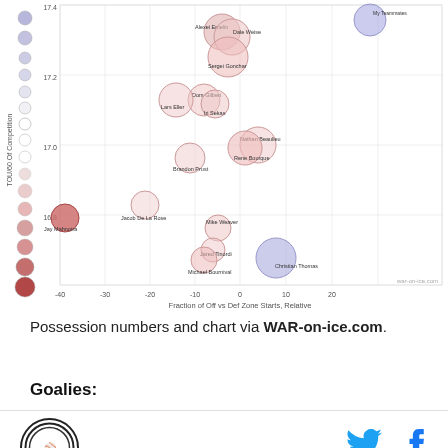[Figure (bubble-chart): Bubble chart showing hockey players plotted by zone starts vs TOI/60 of competition, with bubble size indicating another metric. Players labeled include Alexei Emelin, Dale Weise, Sergei Gonchar, Dom Gilbert, Iri Sekas, Lars Eller, Nathan Beaulieu, Rene Bourque, Brandon Prust, Jacob De La Rosa, Mike Weaver, Jared Tinordi, Michael Bournival, Christian Thomas, Jay Mahnotra. Legend circles on left side ranging from blue (positive) to red (negative).]
Possession numbers and chart via WAR-on-ice.com.
Goalies: